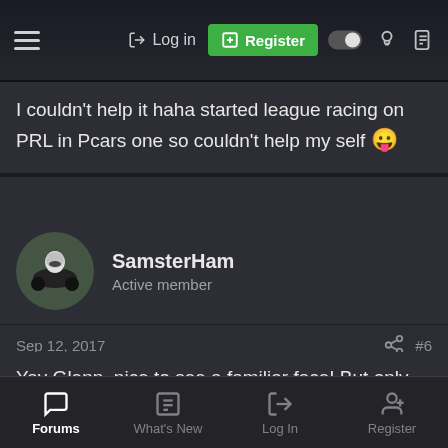Log in | Register
I couldn't help it haha started league racing on PRL in Pcars one so couldn't help my self 😛
SamsterHam
Active member
Sep 12, 2017   #6
Yay Glenn, nice to see a familiar face! But only Reserve? *Tut tut tut*
Will White
Active member
Forums | What's New | Log In | Register